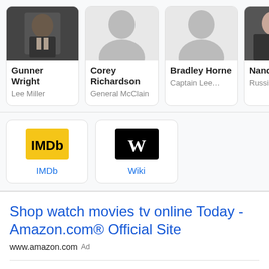[Figure (infographic): Cast cards showing actors: Gunner Wright as Lee Miller, Corey Richardson as General McClain, Bradley Horne as Captain Lee..., Nancy S as Russian...]
Gunner Wright
Lee Miller
Corey Richardson
General McClain
Bradley Horne
Captain Lee...
Nancy S
Russian...
[Figure (logo): IMDb logo - yellow background with IMDb text]
IMDb
[Figure (logo): Wikipedia logo - black square with W]
Wiki
Shop watch movies tv online Today - Amazon.com® Official Site
www.amazon.com  Ad
Browse & discover thousands of brands. Read customer reviews & find best sellers. Free shipping on qualified orders. Free, easy